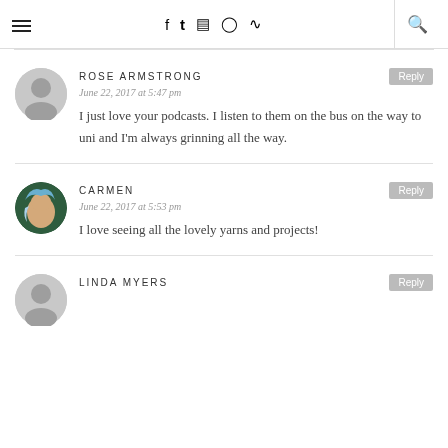≡ f t IG P RSS 🔍
ROSE ARMSTRONG
June 22, 2017 at 5:47 pm
I just love your podcasts. I listen to them on the bus on the way to uni and I'm always grinning all the way.
CARMEN
June 22, 2017 at 5:53 pm
I love seeing all the lovely yarns and projects!
LINDA MYERS